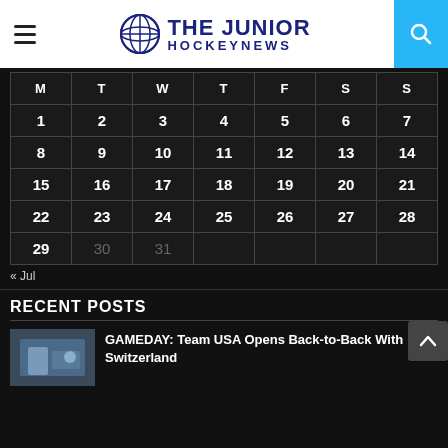The Junior Hockey News
| M | T | W | T | F | S | S |
| --- | --- | --- | --- | --- | --- | --- |
| 1 | 2 | 3 | 4 | 5 | 6 | 7 |
| 8 | 9 | 10 | 11 | 12 | 13 | 14 |
| 15 | 16 | 17 | 18 | 19 | 20 | 21 |
| 22 | 23 | 24 | 25 | 26 | 27 | 28 |
| 29 | 30 | 31 |  |  |  |  |
« Jul
RECENT POSTS
GAMEDAY: Team USA Opens Back-to-Back With Switzerland